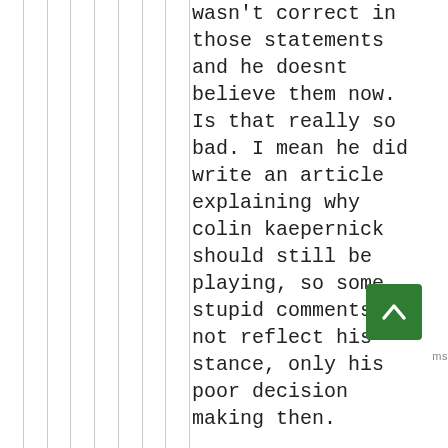wasn't correct in those statements and he doesnt believe them now. Is that really so bad. I mean he did write an article explaining why colin kaepernick should still be playing, so some stupid comments may not reflect his stance, only his poor decision making then.
Still, the apology was rubbish. It was so sterotypically condescending, blame other people for being offended. Just admit you wrote them and have learned how mistaken he was then, and he wasnt right to think or feel thst way. People change